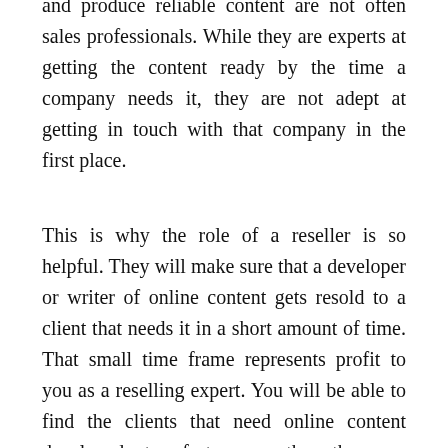and produce reliable content are not often sales professionals. While they are experts at getting the content ready by the time a company needs it, they are not adept at getting in touch with that company in the first place.
This is why the role of a reseller is so helpful. They will make sure that a developer or writer of online content gets resold to a client that needs it in a short amount of time. That small time frame represents profit to you as a reselling expert. You will be able to find the clients that need online content developed at a faster pace than they can handle on their own. Most small businesses, for example, are able to count on a reseller to provide the content they need as they grow their business. You will be able to help